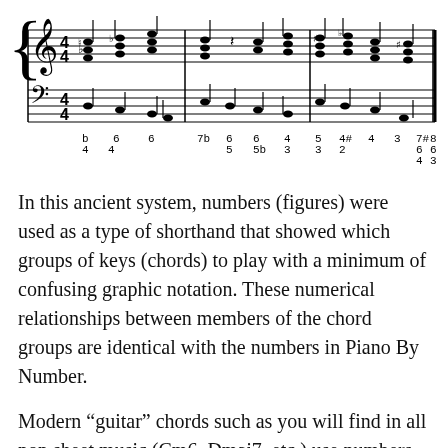[Figure (illustration): Musical staff notation showing figured bass examples with treble and bass clef staves in common time (4/4), with figured bass numbers (b, 6, 6, 7b, 6, 6, 4, 5, 4#, 4, 3, 7#, 8) and subsidiary figures below (4, 5, 5b, 3, 3, 2, 6, 6, 4, 3) arranged beneath notes.]
In this ancient system, numbers (figures) were used as a type of shorthand that showed which groups of keys (chords) to play with a minimum of confusing graphic notation. These numerical relationships between members of the chord groups are identical with the numbers in Piano By Number.
Modern “guitar” chords such as you will find in all pop sheet music (Cm6, Dmaj7, etc.) use numbers in a similar but simplified way. On